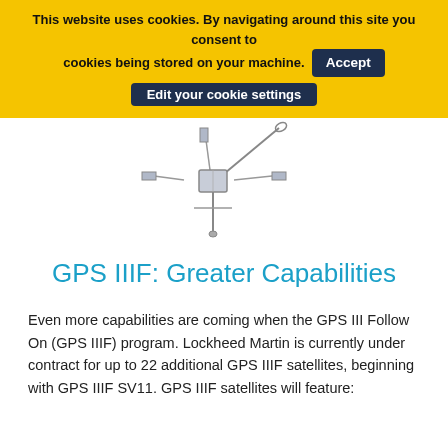This website uses cookies. By navigating around this site you consent to cookies being stored on your machine. Accept Edit your cookie settings
[Figure (photo): A GPS satellite photographed against a white background, showing its cross-shaped solar panel array and antenna structure.]
GPS IIIF: Greater Capabilities
Even more capabilities are coming when the GPS III Follow On (GPS IIIF) program. Lockheed Martin is currently under contract for up to 22 additional GPS IIIF satellites, beginning with GPS IIIF SV11. GPS IIIF satellites will feature: